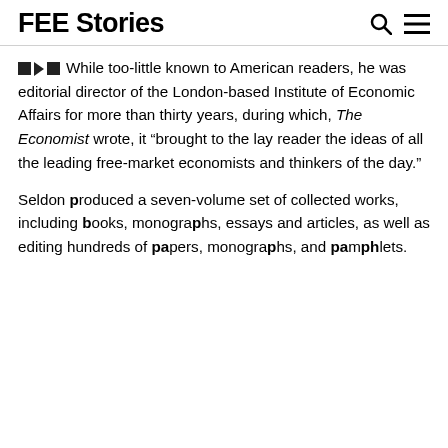FEE Stories
While too-little known to American readers, he was editorial director of the London-based Institute of Economic Affairs for more than thirty years, during which, The Economist wrote, it “brought to the lay reader the ideas of all the leading free-market economists and thinkers of the day.”
Seldon produced a seven-volume set of collected works, including books, monographs, essays and articles, as well as editing hundreds of papers, monographs, and pamphlets.